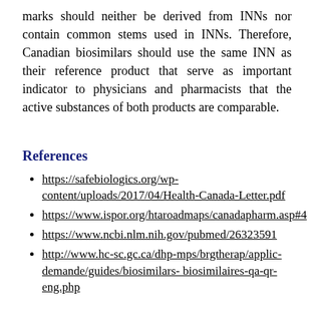marks should neither be derived from INNs nor contain common stems used in INNs. Therefore, Canadian biosimilars should use the same INN as their reference product that serve as important indicator to physicians and pharmacists that the active substances of both products are comparable.
References
https://safebiologics.org/wp-content/uploads/2017/04/Health-Canada-Letter.pdf
https://www.ispor.org/htaroadmaps/canadapharm.asp#4
https://www.ncbi.nlm.nih.gov/pubmed/26323591
http://www.hc-sc.gc.ca/dhp-mps/brgtherap/applic-demande/guides/biosimilars- biosimilaires-qa-qr-eng.php